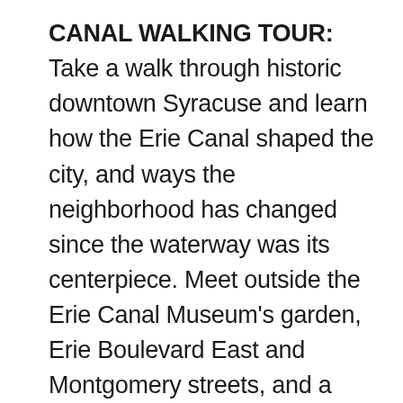CANAL WALKING TOUR: Take a walk through historic downtown Syracuse and learn how the Erie Canal shaped the city, and ways the neighborhood has changed since the waterway was its centerpiece. Meet outside the Erie Canal Museum's garden, Erie Boulevard East and Montgomery streets, and a trained docent will lead you along the Canal's original path. See stunning historic architecture, tour Clinton and Hanover squares, visit the site of a huge Canal basin, and learn how the Erie Canal Museum came to be. This program is a must for history